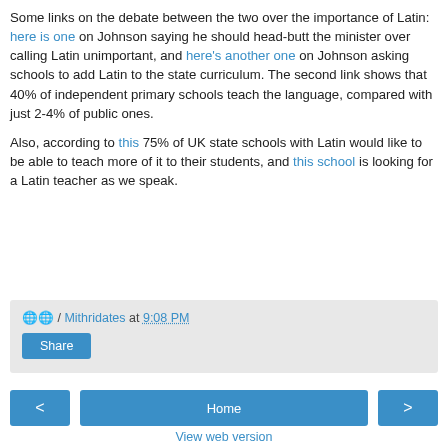Some links on the debate between the two over the importance of Latin: here is one on Johnson saying he should head-butt the minister over calling Latin unimportant, and here's another one on Johnson asking schools to add Latin to the state curriculum. The second link shows that 40% of independent primary schools teach the language, compared with just 2-4% of public ones.

Also, according to this 75% of UK state schools with Latin would like to be able to teach more of it to their students, and this school is looking for a Latin teacher as we speak.
🌐 / Mithridates at 9:08 PM
Share
< Home >
View web version